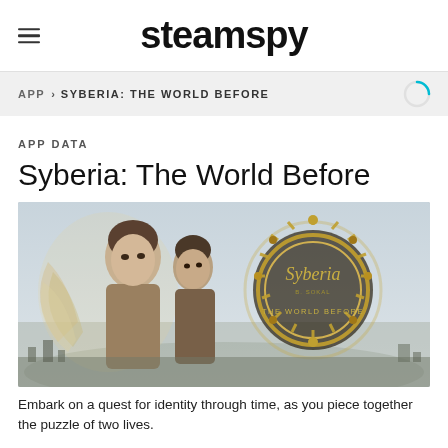steamspy
APP > SYBERIA: THE WORLD BEFORE
APP DATA
Syberia: The World Before
[Figure (photo): Promotional artwork for Syberia: The World Before showing two female characters and the game logo with steampunk mechanical ring design]
Embark on a quest for identity through time, as you piece together the puzzle of two lives.